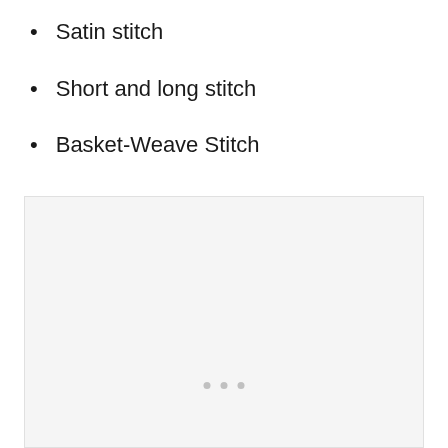Satin stitch
Short and long stitch
Basket-Weave Stitch
[Figure (photo): A light gray placeholder image box with three small dots at the bottom center, indicating an image or slideshow area.]